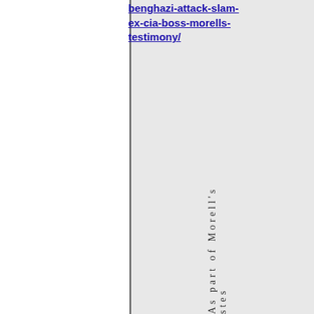benghazi-attack-slam-ex-cia-boss-morells-testimony/
As part of Morell's stes